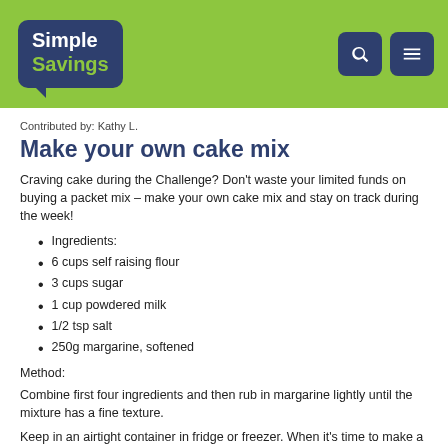Simple Savings
Contributed by: Kathy L.
Make your own cake mix
Craving cake during the Challenge? Don't waste your limited funds on buying a packet mix – make your own cake mix and stay on track during the week!
Ingredients:
6 cups self raising flour
3 cups sugar
1 cup powdered milk
1/2 tsp salt
250g margarine, softened
Method:
Combine first four ingredients and then rub in margarine lightly until the mixture has a fine texture.
Keep in an airtight container in fridge or freezer. When it's time to make a cake, add one egg to two cups of mixture, plus 125ml of